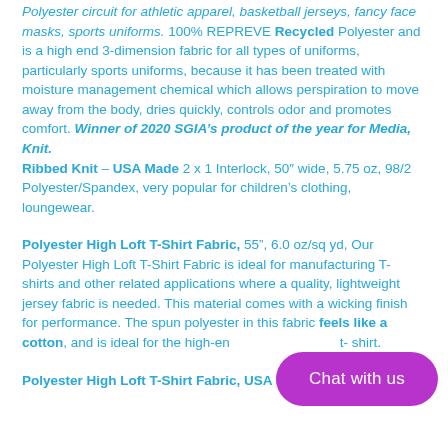Polyester circuit for athletic apparel, basketball jerseys, fancy face masks, sports uniforms. 100% REPREVE Recycled Polyester and is a high end 3-dimension fabric for all types of uniforms, particularly sports uniforms, because it has been treated with moisture management chemical which allows perspiration to move away from the body, dries quickly, controls odor and promotes comfort. Winner of 2020 SGIA’s product of the year for Media, Knit. Ribbed Knit – USA Made 2 x 1 Interlock, 50″ wide, 5.75 oz, 98/2 Polyester/Spandex, very popular for children’s clothing, loungewear.
Polyester High Loft T-Shirt Fabric, 55”, 6.0 oz/sq yd, Our Polyester High Loft T-Shirt Fabric is ideal for manufacturing T-shirts and other related applications where a quality, lightweight jersey fabric is needed. This material comes with a wicking finish for performance. The spun polyester in this fabric feels like a cotton, and is ideal for the high-end t-shirt.
Polyester High Loft T-Shirt Fabric, USA Made -55”, 6.0 oz/sq